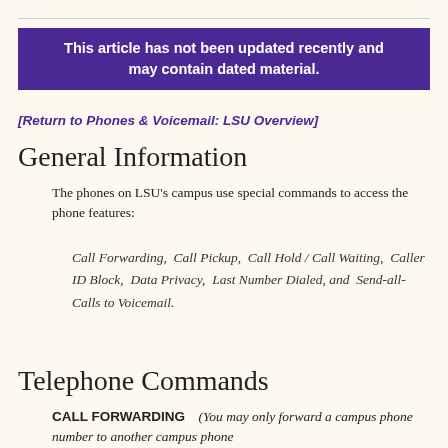This article has not been updated recently and may contain dated material.
[Return to Phones & Voicemail: LSU Overview]
General Information
The phones on LSU's campus use special commands to access the phone features:
Call Forwarding,  Call Pickup,  Call Hold / Call Waiting,  Caller ID Block,  Data Privacy,  Last Number Dialed, and  Send-all-Calls to Voicemail.
Telephone Commands
CALL FORWARDING    (You may only forward a campus phone number to another campus phone